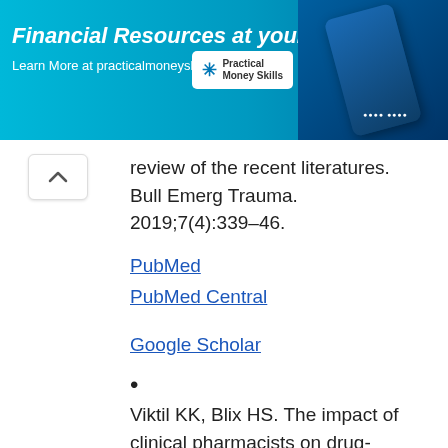[Figure (infographic): Advertisement banner for practicalmoneyskills.com — 'Financial Resources at your Fingertips' with blue background and Practical Money Skills logo]
review of the recent literatures. Bull Emerg Trauma. 2019;7(4):339–46.
PubMed
PubMed Central
Google Scholar
Viktil KK, Blix HS. The impact of clinical pharmacists on drug-related problems and clinical outcomes. Basic Clin Pharmacol Toxicol. 2008;102(3):275–80.
CAS